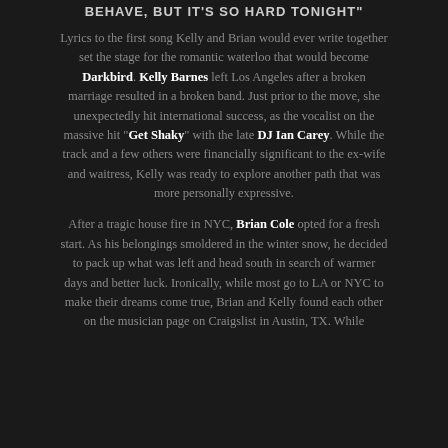BEHAVE, BUT IT'S SO HARD TONIGHT"
Lyrics to the first song Kelly and Brian would ever write together set the stage for the romantic waterloo that would become Darkbird. Kelly Barnes left Los Angeles after a broken marriage resulted in a broken band. Just prior to the move, she unexpectedly hit international success, as the vocalist on the massive hit “Get Shaky” with the late DJ Ian Carey. While the track and a few others were financially significant to the ex-wife and waitress, Kelly was ready to explore another path that was more personally expressive.
After a tragic house fire in NYC, Brian Cole opted for a fresh start. As his belongings smoldered in the winter snow, he decided to pack up what was left and head south in search of warmer days and better luck. Ironically, while most go to LA or NYC to make their dreams come true, Brian and Kelly found each other on the musician page on Craigslist in Austin, TX. While